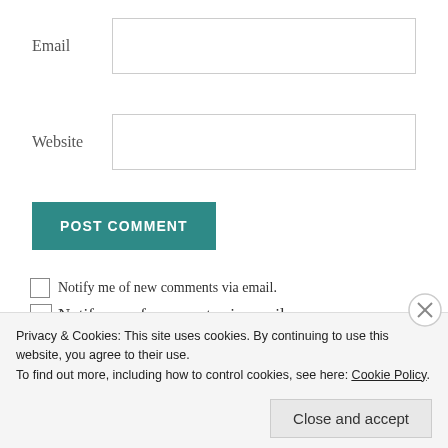Email
Website
POST COMMENT
Notify me of new comments via email.
Notify me of new posts via email.
Privacy & Cookies: This site uses cookies. By continuing to use this website, you agree to their use.
To find out more, including how to control cookies, see here: Cookie Policy
Close and accept